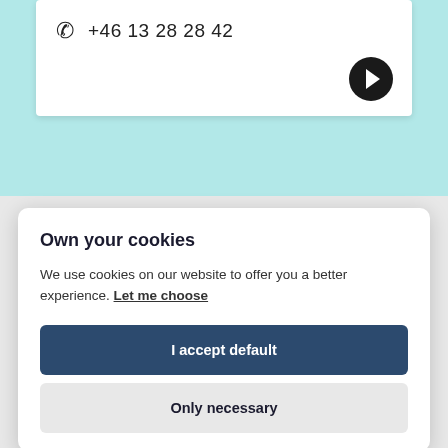+46 13 28 28 42
[Figure (illustration): Right-arrow circle button (dark, filled) in bottom-right of contact card]
Own your cookies
We use cookies on our website to offer you a better experience. Let me choose
I accept default
Only necessary